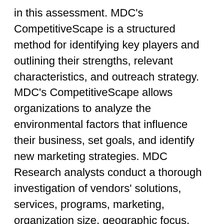in this assessment. MDC's CompetitiveScape is a structured method for identifying key players and outlining their strengths, relevant characteristics, and outreach strategy. MDC's CompetitiveScape allows organizations to analyze the environmental factors that influence their business, set goals, and identify new marketing strategies. MDC Research analysts conduct a thorough investigation of vendors' solutions, services, programs, marketing, organization size, geographic focus, type of organization and strategies.
Technology Assessment
Technology dramatically impacts business productivity, growth and efficiency.Technologies can help companies develop competitive advantages, but choosing them can be one of the most demanding decisions for businesses. Technology assessment helps organizations to understand their current situation with respect to